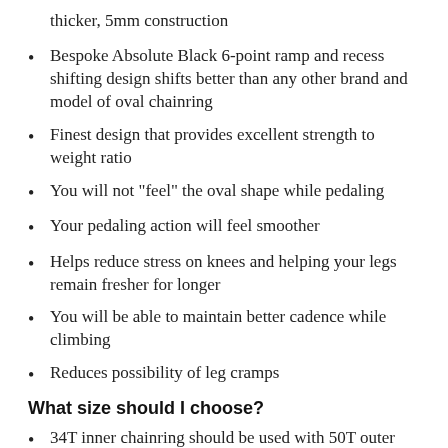thicker, 5mm construction
Bespoke Absolute Black 6-point ramp and recess shifting design shifts better than any other brand and model of oval chainring
Finest design that provides excellent strength to weight ratio
You will not "feel" the oval shape while pedaling
Your pedaling action will feel smoother
Helps reduce stress on knees and helping your legs remain fresher for longer
You will be able to maintain better cadence while climbing
Reduces possibility of leg cramps
What size should I choose?
34T inner chainring should be used with 50T outer